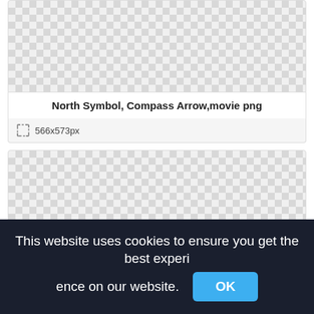[Figure (screenshot): Checkered transparent background area (top card, image area)]
North Symbol, Compass Arrow,movie png
566x573px
[Figure (screenshot): Checkered transparent background area (second card, larger image area)]
This website uses cookies to ensure you get the best experience on our website. OK